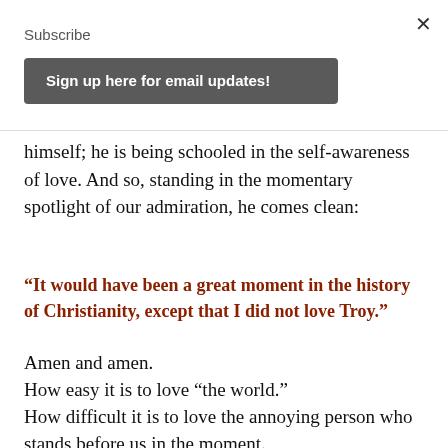×
Subscribe
Sign up here for email updates!
himself; he is being schooled in the self-awareness of love. And so, standing in the momentary spotlight of our admiration, he comes clean:
“It would have been a great moment in the history of Christianity, except that I did not love Troy.”
Amen and amen.
How easy it is to love “the world.”
How difficult it is to love the annoying person who stands before us in the moment.